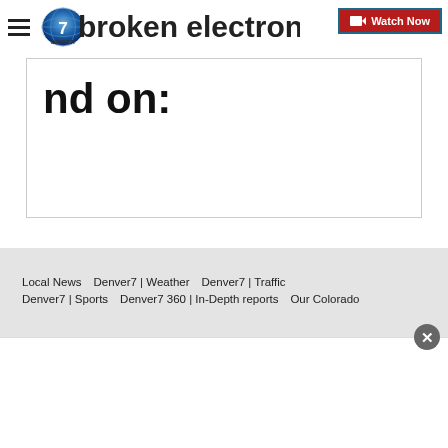Denver7 | Watch Now
…broken electronic… nd on:
nd on:
Local News   Denver7 | Weather   Denver7 | Traffic   Denver7 | Sports   Denver7 360 | In-Depth reports   Our Colorado